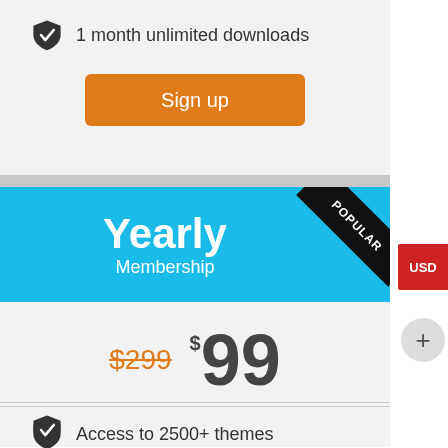1 month unlimited downloads
Sign up
Yearly Membership
POPULAR
$299  $99
Access to 2500+ themes
USD